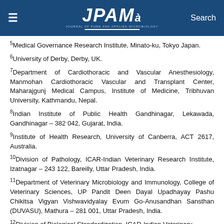JPAM - Journal of Pure and Applied Microbiology
5Medical Governance Research Institute, Minato-ku, Tokyo Japan.
6University of Derby, Derby, UK.
7Department of Cardiothoracic and Vascular Anesthesiology, Manmohan Cardiothoracic Vascular and Transplant Center, Maharajgunj Medical Campus, Institute of Medicine, Tribhuvan University, Kathmandu, Nepal.
8Indian Institute of Public Health Gandhinagar, Lekawada, Gandhinagar – 382 042, Gujarat, India.
9Institute of Health Research, University of Canberra, ACT 2617, Australia.
10Division of Pathology, ICAR-Indian Veterinary Research Institute, Izatnagar – 243 122, Bareilly, Uttar Pradesh, India.
11Department of Veterinary Microbiology and Immunology, College of Veterinary Sciences, UP Pandit Deen Dayal Upadhayay Pashu Chikitsa Vigyan Vishwavidyalay Evum Go-Anusandhan Sansthan (DUVASU), Mathura – 281 001, Uttar Pradesh, India.
12Division of Biological Standardization, ICAR-Indian Veterinary...